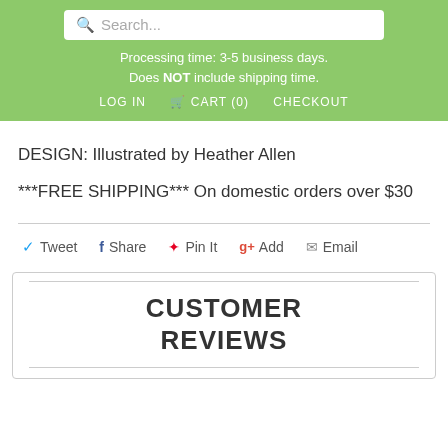Search... | Processing time: 3-5 business days. Does NOT include shipping time. | LOG IN  CART (0)  CHECKOUT
DESIGN: Illustrated by Heather Allen
***FREE SHIPPING*** On domestic orders over $30
Tweet  Share  Pin It  Add  Email
CUSTOMER REVIEWS